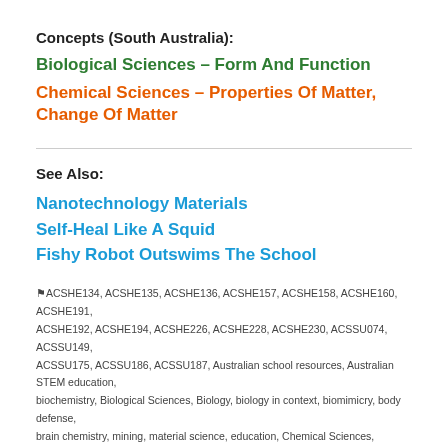Concepts (South Australia):
Biological Sciences – Form And Function
Chemical Sciences – Properties Of Matter, Change Of Matter
See Also:
Nanotechnology Materials
Self-Heal Like A Squid
Fishy Robot Outswims The School
ACSHE134, ACSHE135, ACSHE136, ACSHE157, ACSHE158, ACSHE160, ACSHE191, ACSHE192, ACSHE194, ACSHE226, ACSHE228, ACSHE230, ACSSU074, ACSSU149, ACSSU175, ACSSU186, ACSSU187, Australian school resources, Australian STEM education, biochemistry, Biological Sciences, Biology, biology in context, biomimicry, body defense, brain chemistry, mining, material science, education, Chemical Sciences, Chemistry